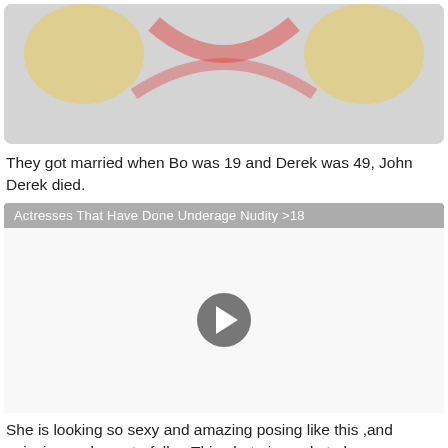[Figure (illustration): Hotlink denied placeholder image with grey background and decorative illustration, showing large bold white text 'Hotlink denied' with dark outline]
They got married when Bo was 19 and Derek was 49, John Derek died.
[Figure (screenshot): Video player placeholder with grey title bar reading 'Actresses That Have Done Underage Nudity >18', white video area with a grey circular play button in the center]
She is looking so sexy and amazing posing like this ,and enjoying under waterfall ... This photo is made to be an commercial that could sell ,we believe everything.